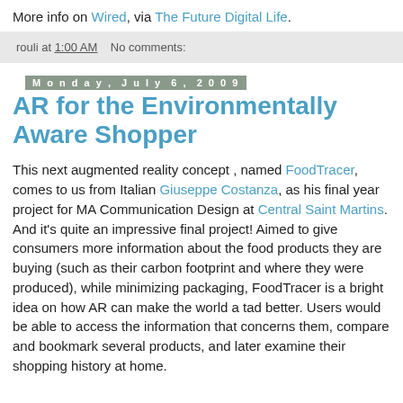More info on Wired, via The Future Digital Life.
rouli at 1:00 AM    No comments:
Monday, July 6, 2009
AR for the Environmentally Aware Shopper
This next augmented reality concept , named FoodTracer, comes to us from Italian Giuseppe Costanza, as his final year project for MA Communication Design at Central Saint Martins. And it's quite an impressive final project! Aimed to give consumers more information about the food products they are buying (such as their carbon footprint and where they were produced), while minimizing packaging, FoodTracer is a bright idea on how AR can make the world a tad better. Users would be able to access the information that concerns them, compare and bookmark several products, and later examine their shopping history at home. In other ways AR can make the world better.